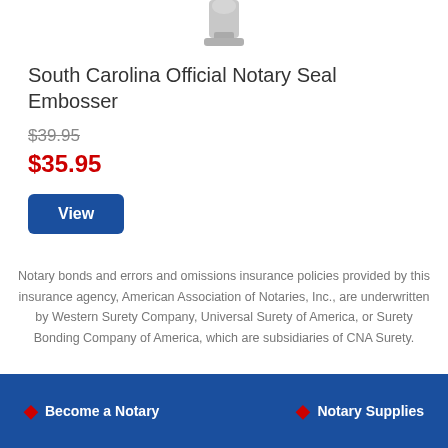[Figure (photo): Partial view of a South Carolina Official Notary Seal Embosser product image, cropped at top]
South Carolina Official Notary Seal Embosser
$39.95 (strikethrough original price)
$35.95 (sale price in red)
View (button)
Notary bonds and errors and omissions insurance policies provided by this insurance agency, American Association of Notaries, Inc., are underwritten by Western Surety Company, Universal Surety of America, or Surety Bonding Company of America, which are subsidiaries of CNA Surety.
Become a Notary   Notary Supplies